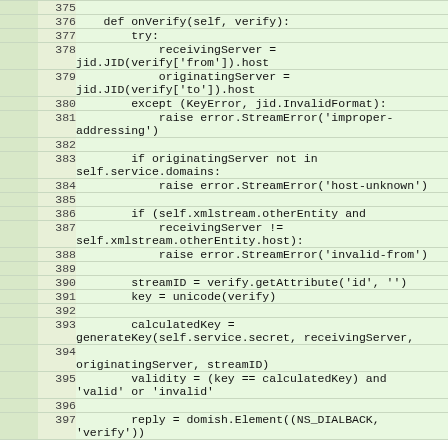|  | line | code |
| --- | --- | --- |
|  | 375 |  |
|  | 376 |     def onVerify(self, verify): |
|  | 377 |         try: |
|  | 378 |             receivingServer =
jid.JID(verify['from']).host |
|  | 379 |             originatingServer =
jid.JID(verify['to']).host |
|  | 380 |         except (KeyError, jid.InvalidFormat): |
|  | 381 |             raise error.StreamError('improper-addressing') |
|  | 382 |  |
|  | 383 |         if originatingServer not in
self.service.domains: |
|  | 384 |             raise error.StreamError('host-unknown') |
|  | 385 |  |
|  | 386 |         if (self.xmlstream.otherEntity and |
|  | 387 |             receivingServer !=
self.xmlstream.otherEntity.host): |
|  | 388 |             raise error.StreamError('invalid-from') |
|  | 389 |  |
|  | 390 |         streamID = verify.getAttribute('id', '') |
|  | 391 |         key = unicode(verify) |
|  | 392 |  |
|  | 393 |         calculatedKey =
generateKey(self.service.secret, receivingServer, |
|  | 394 | 
originatingServer, streamID) |
|  | 395 |         validity = (key == calculatedKey) and
'valid' or 'invalid' |
|  | 396 |  |
|  | 397 |         reply = domish.Element((NS_DIALBACK,
'verify')) |